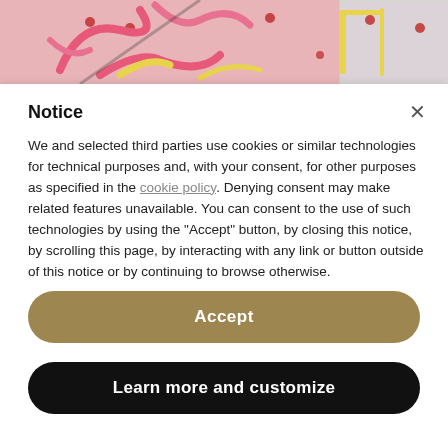[Figure (photo): Photo of colorful neon pink and yellow tube/pipe art installation against a pink wall with red circular wall decorations]
Notice
We and selected third parties use cookies or similar technologies for technical purposes and, with your consent, for other purposes as specified in the cookie policy. Denying consent may make related features unavailable. You can consent to the use of such technologies by using the "Accept" button, by closing this notice, by scrolling this page, by interacting with any link or button outside of this notice or by continuing to browse otherwise.
Accept
Learn more and customize